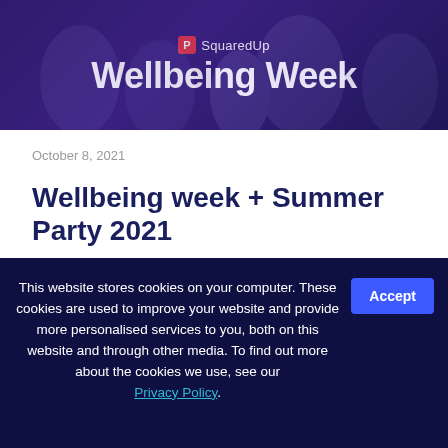[Figure (photo): Hero banner with dark purple gradient background showing SquaredUp logo and 'Wellbeing Week' title text in white. Background has faint crowd/people imagery.]
October 8, 2021
Wellbeing week + Summer Party 2021
[Figure (photo): Circular avatar photo of Lydia Shu — person with dark hair against dark background]
Lydia Shu
This website stores cookies on your computer. These cookies are used to improve your website and provide more personalised services to you, both on this website and through other media. To find out more about the cookies we use, see our Privacy Policy.